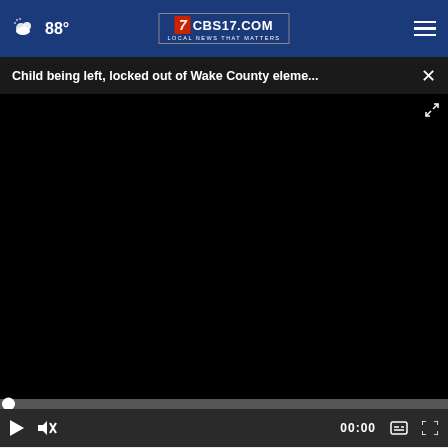CBS17.COM - LOCAL NEWS THAT MATTERS | 88°
Child being left, locked out of Wake County eleme...
[Figure (screenshot): Black video player area, paused with 00:00 timestamp, play button, mute button, captions button, and fullscreen button visible in controls bar]
Click here for full list of trending stories
[Figure (photo): Person sitting in chair, leaning forward with hand on face, green chairs visible in background, dark warm-toned image]